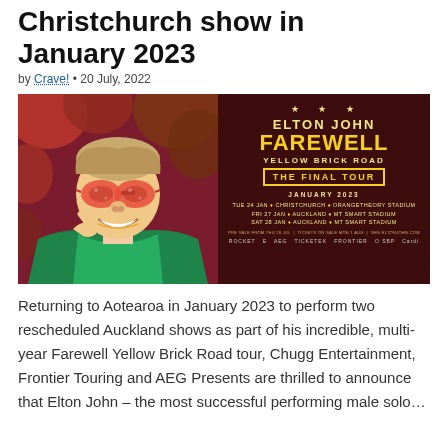Christchurch show in January 2023
by Crave! • 20 July, 2022
[Figure (photo): Elton John Farewell Yellow Brick Road The Final Tour promotional image. Left half: photo of Elton John wearing red sparkly glasses and green jacket, smiling. Right half: dark red poster with text 'ELTON JOHN FAREWELL YELLOW BRICK ROAD THE FINAL TOUR JANUARY 2023 TUE 24 JAN • CHRISTCHURCH • ORANGETHEORY STADIUM FRI 27 JAN • AUCKLAND • MT SMART STADIUM SAT 28 JAN • AUCKLAND • MT SMART STADIUM PRE SALE FROM THU 28 JUL | TICKETS ON SALE MON 1 AUG | GEN.ELTONJOHN.COM']
Returning to Aotearoa in January 2023 to perform two rescheduled Auckland shows as part of his incredible, multi-year Farewell Yellow Brick Road tour, Chugg Entertainment, Frontier Touring and AEG Presents are thrilled to announce that Elton John – the most successful performing male solo…